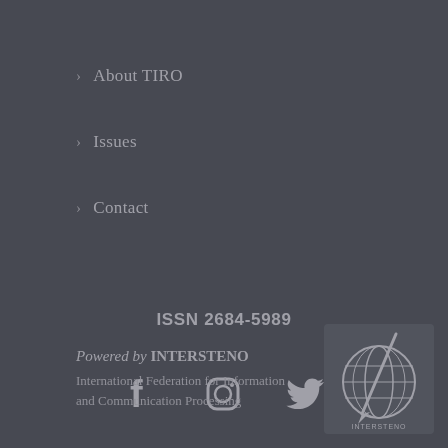> About TIRO
> Issues
> Contact
ISSN 2684-5989
[Figure (infographic): Social media icons: Facebook, Instagram, Twitter]
Powered by INTERSTENO
International Federation for Information and Communication Processing
[Figure (logo): INTERSTENO globe logo with pen]